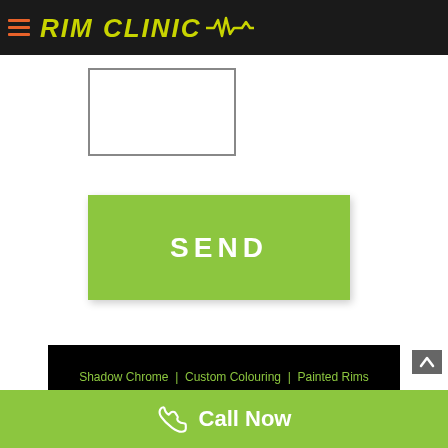RIM CLINIC
[Figure (screenshot): Empty white input/text box with gray border]
SEND
Shadow Chrome | Custom Colouring | Painted Rims | CNC Diamond Cutting
facebook. 5 Star Facebook Reviews
Call Now